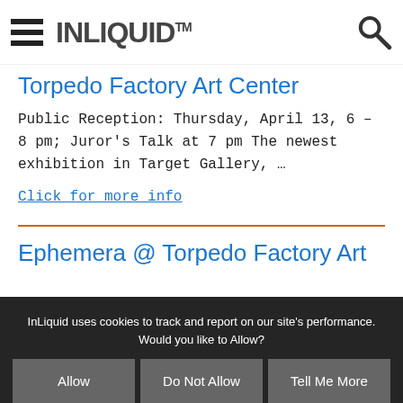INLIQUID™
Torpedo Factory Art Center
Public Reception: Thursday, April 13, 6 – 8 pm; Juror's Talk at 7 pm The newest exhibition in Target Gallery, …
Click for more info
Ephemera @ Torpedo Factory Art
InLiquid uses cookies to track and report on our site's performance. Would you like to Allow?
Allow
Do Not Allow
Tell Me More